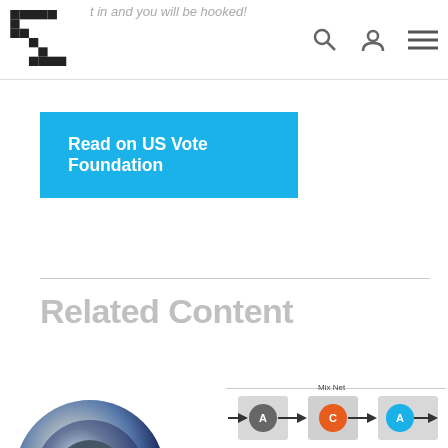Navigation bar with logo, search, user, and menu icons
...t in and you will be hooked!
Read on US Vote Foundation
Related Content
[Figure (photo): Circular metallic lens or ballot box image, partially visible at bottom left]
[Figure (network-graph): Mix Net diagram showing nodes labeled A, C, A in colored circles connected by arrows, with gray background panels]